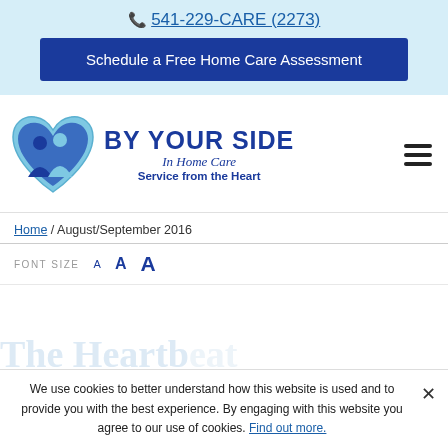📞 541-229-CARE (2273)
Schedule a Free Home Care Assessment
[Figure (logo): By Your Side In Home Care logo — blue heart shape with two silhouetted figures inside, next to text 'BY YOUR SIDE In Home Care Service from the Heart']
Home / August/September 2016
FONT SIZE  A  A  A
We use cookies to better understand how this website is used and to provide you with the best experience. By engaging with this website you agree to our use of cookies. Find out more.